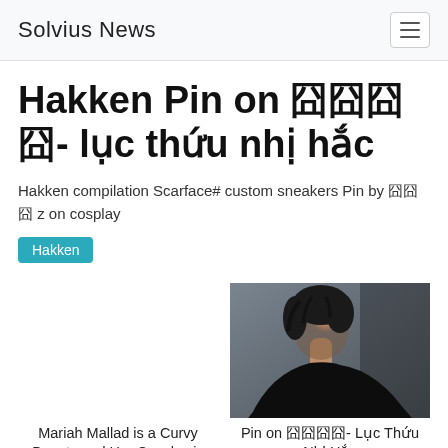Solvius News
Hakken Pin on 囧囧囧囧- lục thứu nhị hắc
Hakken compilation Scarface# custom sneakers Pin by 囧囧囧 z on cosplay
Hakken
[Figure (photo): No image shown on left card - blank white area]
Mariah Mallad is a Curvy Beauty and Her Cosplay is
[Figure (photo): Dark moody portrait of person with short black hair wearing a black long-sleeve top, photographed from behind/side angle against gray background]
Pin on 囧囧囧囧- Lục Thứu Nhị Hắc